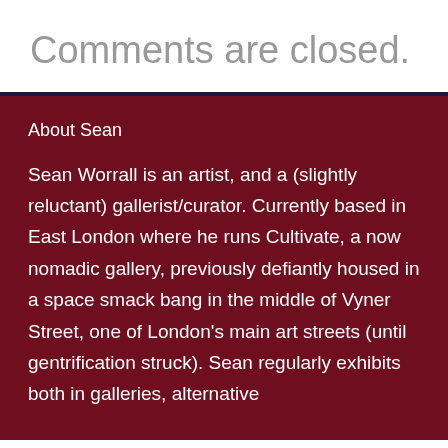Comments are closed.
About Sean
Sean Worrall is an artist, and a (slightly reluctant) gallerist/curator. Currently based in East London where he runs Cultivate, a now nomadic gallery, previously defiantly housed in a space smack bang in the middle of Vyner Street, one of London's main art streets (until gentrification struck). Sean regularly exhibits both in galleries, alternative